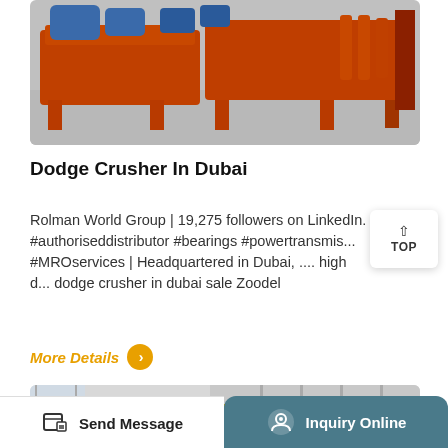[Figure (photo): Orange industrial crusher/mining equipment on a warehouse floor — large orange machinery with motors, conveyor-like frames, and coil springs visible]
Dodge Crusher In Dubai
Rolman World Group | 19,275 followers on LinkedIn. #authoriseddistributor #bearings #powertransmis... #MROservices | Headquartered in Dubai, .... high d... dodge crusher in dubai sale Zoodel
More Details
[Figure (photo): Industrial wheels/pulleys — large red and yellow metal wheels stacked inside a warehouse or container]
Send Message   Inquiry Online